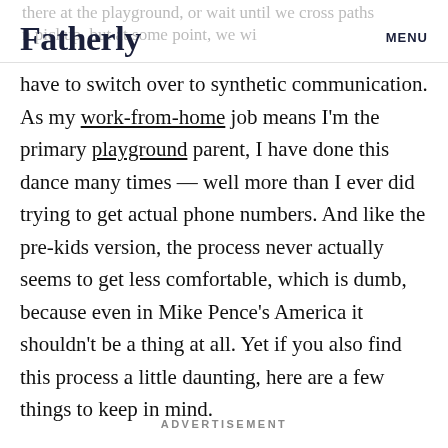Fatherly | MENU
have to switch over to synthetic communication. As my work-from-home job means I'm the primary playground parent, I have done this dance many times — well more than I ever did trying to get actual phone numbers. And like the pre-kids version, the process never actually seems to get less comfortable, which is dumb, because even in Mike Pence's America it shouldn't be a thing at all. Yet if you also find this process a little daunting, here are a few things to keep in mind.
ADVERTISEMENT